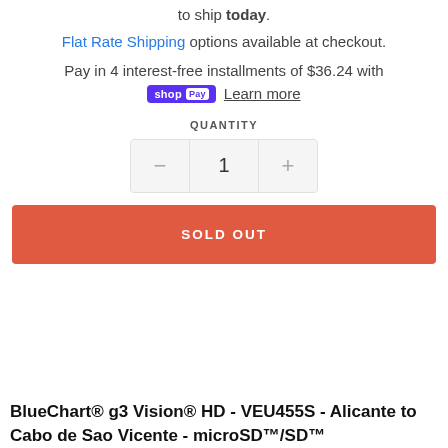to ship today.
Flat Rate Shipping options available at checkout.
Pay in 4 interest-free installments of $36.24 with shop Pay Learn more
QUANTITY
[Figure (other): Quantity selector showing minus button, value 1, and plus button]
SOLD OUT
BlueChart® g3 Vision® HD - VEU455S - Alicante to Cabo de Sao Vicente - microSD™/SD™